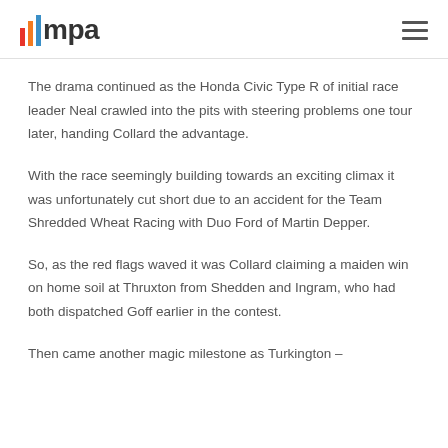mpa
The drama continued as the Honda Civic Type R of initial race leader Neal crawled into the pits with steering problems one tour later, handing Collard the advantage.
With the race seemingly building towards an exciting climax it was unfortunately cut short due to an accident for the Team Shredded Wheat Racing with Duo Ford of Martin Depper.
So, as the red flags waved it was Collard claiming a maiden win on home soil at Thruxton from Shedden and Ingram, who had both dispatched Goff earlier in the contest.
Then came another magic milestone as Turkington –